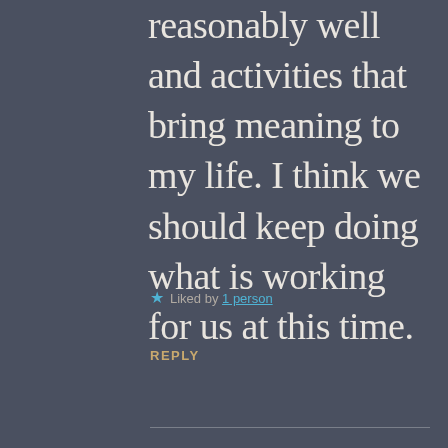reasonably well and activities that bring meaning to my life. I think we should keep doing what is working for us at this time.
★ Liked by 1 person
REPLY